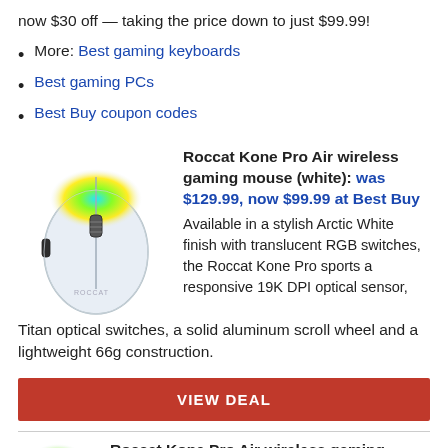now $30 off — taking the price down to just $99.99!
More: Best gaming keyboards
Best gaming PCs
Best Buy coupon codes
[Figure (photo): Roccat Kone Pro Air wireless gaming mouse in white with RGB lighting on top]
Roccat Kone Pro Air wireless gaming mouse (white): was $129.99, now $99.99 at Best Buy
Available in a stylish Arctic White finish with translucent RGB switches, the Roccat Kone Pro sports a responsive 19K DPI optical sensor, Titan optical switches, a solid aluminum scroll wheel and a lightweight 66g construction.
VIEW DEAL
Roccat Kone Pro Air wireless gaming